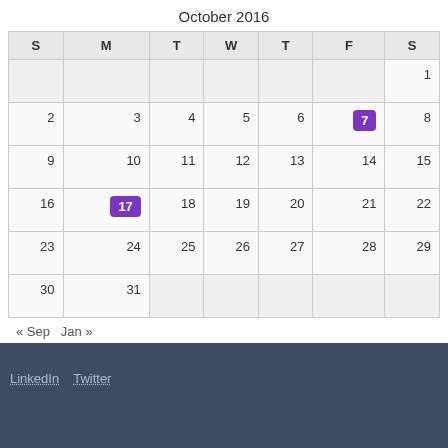| S | M | T | W | T | F | S |
| --- | --- | --- | --- | --- | --- | --- |
|  |  |  |  |  |  | 1 |
| 2 | 3 | 4 | 5 | 6 | 7 | 8 |
| 9 | 10 | 11 | 12 | 13 | 14 | 15 |
| 16 | 17 | 18 | 19 | 20 | 21 | 22 |
| 23 | 24 | 25 | 26 | 27 | 28 | 29 |
| 30 | 31 |  |  |  |  |  |
« Sep   Jan »
LinkedIn   Twitter